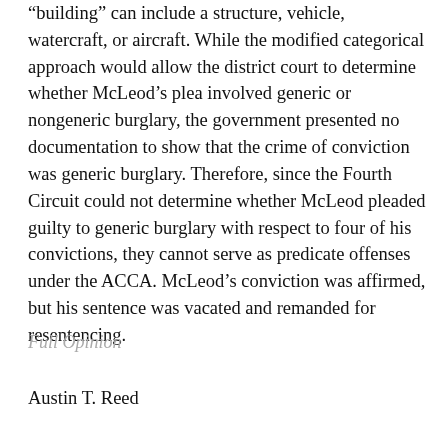“building” can include a structure, vehicle, watercraft, or aircraft. While the modified categorical approach would allow the district court to determine whether McLeod’s plea involved generic or nongeneric burglary, the government presented no documentation to show that the crime of conviction was generic burglary. Therefore, since the Fourth Circuit could not determine whether McLeod pleaded guilty to generic burglary with respect to four of his convictions, they cannot serve as predicate offenses under the ACCA. McLeod’s conviction was affirmed, but his sentence was vacated and remanded for resentencing.
Full Opinion
Austin T. Reed